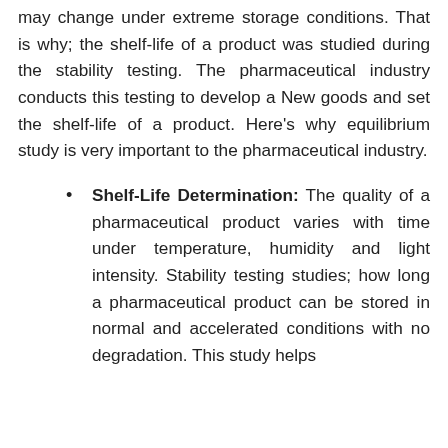may change under extreme storage conditions. That is why; the shelf-life of a product was studied during the stability testing. The pharmaceutical industry conducts this testing to develop a New goods and set the shelf-life of a product. Here's why equilibrium study is very important to the pharmaceutical industry.
Shelf-Life Determination: The quality of a pharmaceutical product varies with time under temperature, humidity and light intensity. Stability testing studies; how long a pharmaceutical product can be stored in normal and accelerated conditions with no degradation. This study helps